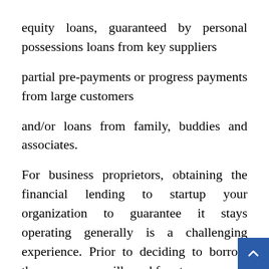equity loans, guaranteed by personal possessions loans from key suppliers
partial pre-payments or progress payments from large customers
and/or loans from family, buddies and associates.
For business proprietors, obtaining the financial lending to startup your organization to guarantee it stays operating generally is a challenging experience. Prior to deciding to borrow the money you will need for startup,